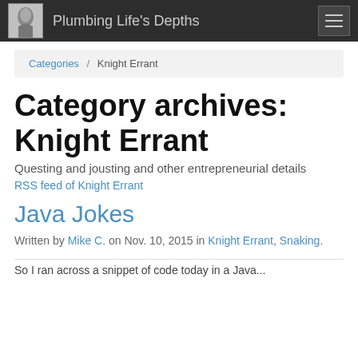Plumbing Life's Depths
Categories / Knight Errant
Category archives: Knight Errant
Questing and jousting and other entrepreneurial details
RSS feed of Knight Errant
Java Jokes
Written by Mike C. on Nov. 10, 2015 in Knight Errant, Snaking.
So I ran across a snippet of code today in a Java...